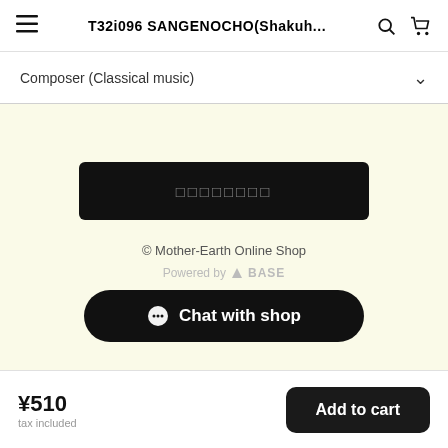T32i096 SANGENOCHO(Shakuh...
Composer (Classical music)
[Figure (screenshot): Black rounded rectangle button with Japanese placeholder text (squares) in gray]
© Mother-Earth Online Shop
Powered by BASE
Chat with shop
¥510 tax included
Add to cart